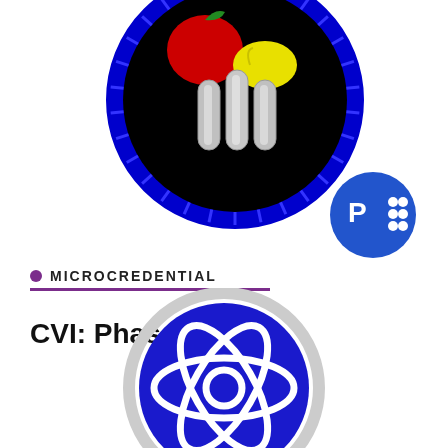[Figure (logo): Circular educational badge with black background showing a red apple, yellow lemon, and three gray/silver test tubes or cylinders, surrounded by a blue dashed border]
[Figure (logo): Blue circular badge with letter P and dot pattern, representing PowerPoint or a publisher badge]
MICROCREDENTIAL
CVI: Phase III
[Figure (logo): Blue circular logo with white atomic/molecular orbital ring pattern and central circle, on light gray background]